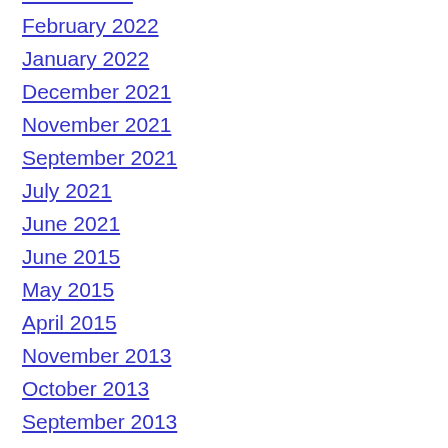March 2022
February 2022
January 2022
December 2021
November 2021
September 2021
July 2021
June 2021
June 2015
May 2015
April 2015
November 2013
October 2013
September 2013